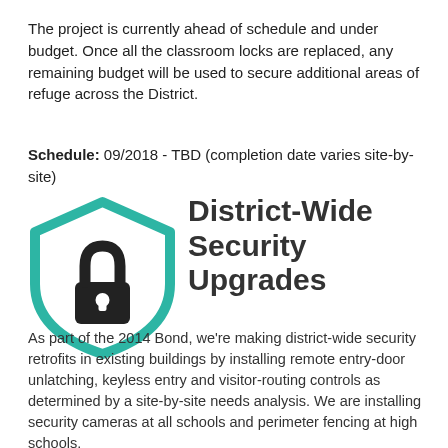The project is currently ahead of schedule and under budget. Once all the classroom locks are replaced, any remaining budget will be used to secure additional areas of refuge across the District.
Schedule: 09/2018 - TBD (completion date varies site-by-site)
[Figure (illustration): A teal shield icon with a black padlock in the center, representing security.]
District-Wide Security Upgrades
As part of the 2014 Bond, we're making district-wide security retrofits in existing buildings by installing remote entry-door unlatching, keyless entry and visitor-routing controls as determined by a site-by-site needs analysis. We are installing security cameras at all schools and perimeter fencing at high schools.